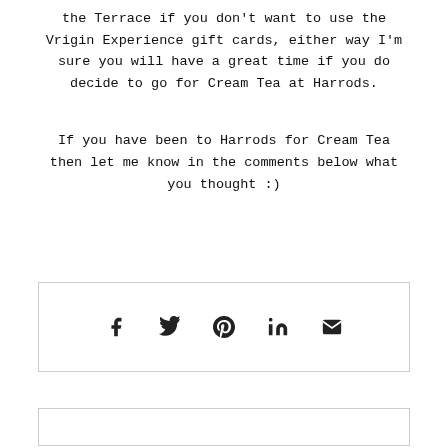the Terrace if you don't want to use the Vrigin Experience gift cards, either way I'm sure you will have a great time if you do decide to go for Cream Tea at Harrods.
If you have been to Harrods for Cream Tea then let me know in the comments below what you thought :)
[Figure (infographic): Social share bar with icons for Facebook, Twitter, Pinterest, LinkedIn, and Email]